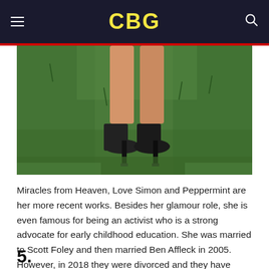CBG
[Figure (photo): Close-up photo of a woman's legs wearing black high-heel shoes standing on green grass]
Miracles from Heaven, Love Simon and Peppermint are her more recent works. Besides her glamour role, she is even famous for being an activist who is a strong advocate for early childhood education. She was married to Scott Foley and then married Ben Affleck in 2005. However, in 2018 they were divorced and they have three children together.
5.